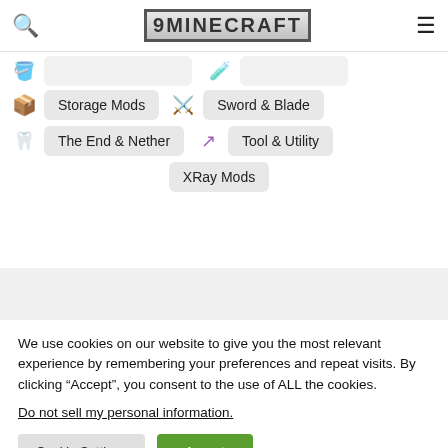9MINECRAFT
Storage Mods
Sword & Blade
The End & Nether
Tool & Utility
XRay Mods
We use cookies on our website to give you the most relevant experience by remembering your preferences and repeat visits. By clicking “Accept”, you consent to the use of ALL the cookies.
Do not sell my personal information.
Cookie Settings
Accept